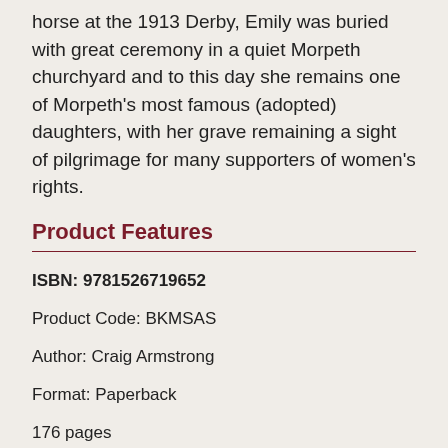horse at the 1913 Derby, Emily was buried with great ceremony in a quiet Morpeth churchyard and to this day she remains one of Morpeth's most famous (adopted) daughters, with her grave remaining a sight of pilgrimage for many supporters of women's rights.
Product Features
ISBN: 9781526719652
Product Code: BKMSAS
Author: Craig Armstrong
Format: Paperback
176 pages